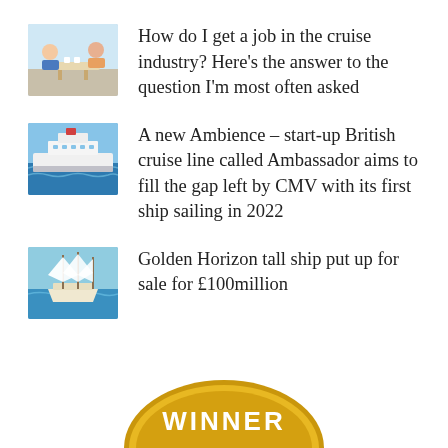How do I get a job in the cruise industry? Here's the answer to the question I'm most often asked
A new Ambience – start-up British cruise line called Ambassador aims to fill the gap left by CMV with its first ship sailing in 2022
Golden Horizon tall ship put up for sale for £100million
[Figure (illustration): Gold award winner badge/seal at bottom center of page]